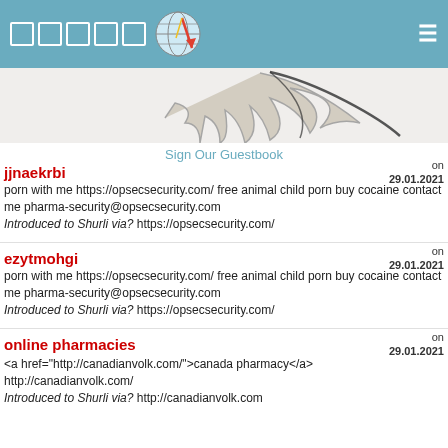[Figure (screenshot): Website header bar with blue background, square icons, globe logo, and hamburger menu]
[Figure (photo): Feather image on light background]
Sign Our Guestbook
jjnaekrbi
on 29.01.2021
porn with me https://opsecsecurity.com/ free animal child porn buy cocaine contact me pharma-security@opsecsecurity.com Introduced to Shurli via? https://opsecsecurity.com/
ezytmohgi
on 29.01.2021
porn with me https://opsecsecurity.com/ free animal child porn buy cocaine contact me pharma-security@opsecsecurity.com Introduced to Shurli via? https://opsecsecurity.com/
online pharmacies
on 29.01.2021
<a href="http://canadianvolk.com/">canada pharmacy</a> http://canadianvolk.com/ Introduced to Shurli via? http://canadianvolk.com